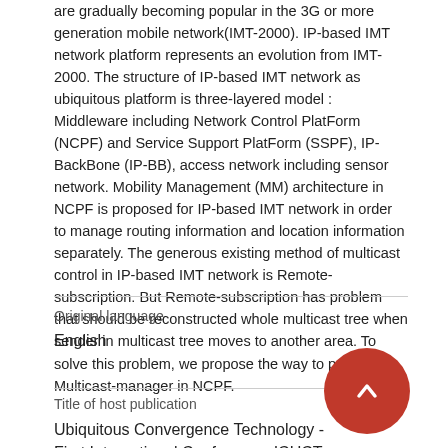are gradually becoming popular in the 3G or more generation mobile network(IMT-2000). IP-based IMT network platform represents an evolution from IMT-2000. The structure of IP-based IMT network as ubiquitous platform is three-layered model : Middleware including Network Control PlatForm (NCPF) and Service Support PlatForm (SSPF), IP-BackBone (IP-BB), access network including sensor network. Mobility Management (MM) architecture in NCPF is proposed for IP-based IMT network in order to manage routing information and location information separately. The generous existing method of multicast control in IP-based IMT network is Remote-subscription. But Remote-subscription has problem that should be reconstructed whole multicast tree when sender in multicast tree moves to another area. To solve this problem, we propose the way to put Multicast-manager in NCPF.
Original language
English
Title of host publication
Ubiquitous Convergence Technology - First International Conference, ICUCT